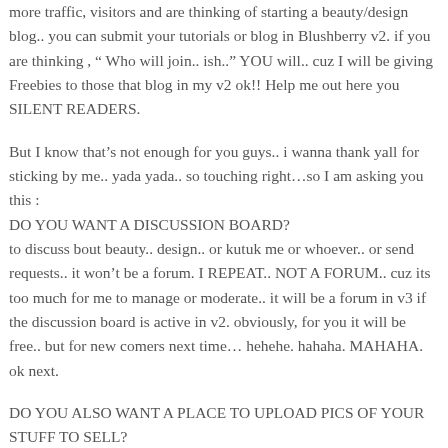more traffic, visitors and are thinking of starting a beauty/design blog.. you can submit your tutorials or blog in Blushberry v2. if you are thinking , " Who will join.. ish.." YOU will.. cuz I will be giving Freebies to those that blog in my v2 ok!! Help me out here you SILENT READERS.
But I know that's not enough for you guys.. i wanna thank yall for sticking by me.. yada yada.. so touching right…so I am asking you this :
DO YOU WANT A DISCUSSION BOARD?
to discuss bout beauty.. design.. or kutuk me or whoever.. or send requests.. it won't be a forum. I REPEAT.. NOT A FORUM.. cuz its too much for me to manage or moderate.. it will be a forum in v3 if the discussion board is active in v2. obviously, for you it will be free.. but for new comers next time… hehehe. hahaha. MAHAHA. ok next.
DO YOU ALSO WANT A PLACE TO UPLOAD PICS OF YOUR STUFF TO SELL?
i know some of you guys have blogshop… or sell stuff in myb.. lowyat.. jbtalks.. if you want I can set up another medium for you guys to sell your stuff. ladies n designers stuff only ya!
FREE.. but if u still want to compete u will automatically be added...